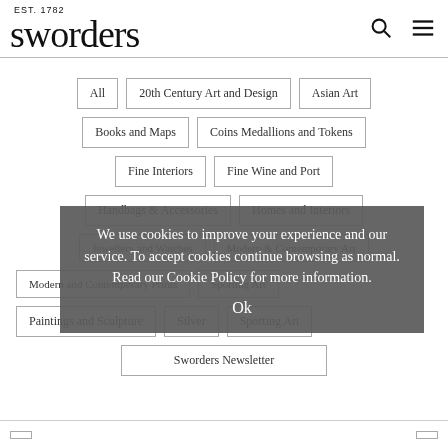sworders EST. 1782
All
20th Century Art and Design
Asian Art
Books and Maps
Coins Medallions and Tokens
Fine Interiors
Fine Wine and Port
Handbags & Accessories
Homes and Interiors
Jewellery and Watches
Modern & Contemporary Art
Modern and Contemporary Prints
Sporting Art
Paintings and Sculpture
Silver
Sporting Art
Sworders Newsletter
We use cookies to improve your experience and our service. To accept cookies continue browsing as normal. Read our Cookie Policy for more information.
Ok